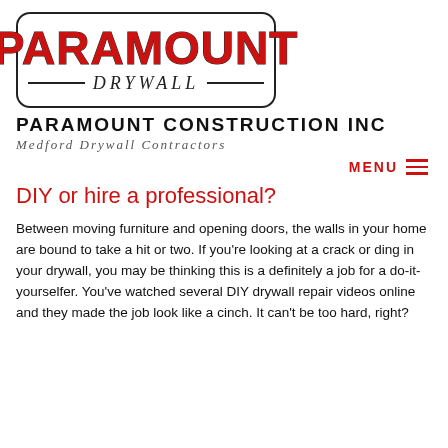[Figure (logo): Paramount Drywall logo — red bold 'PARAMOUNT' text above 'DRYWALL' in italic serif with horizontal lines, all inside a rounded rectangle border]
PARAMOUNT CONSTRUCTION INC
Medford Drywall Contractors
MENU
DIY or hire a professional?
Between moving furniture and opening doors, the walls in your home are bound to take a hit or two. If you're looking at a crack or ding in your drywall, you may be thinking this is a definitely a job for a do-it-yourselfer. You've watched several DIY drywall repair videos online and they made the job look like a cinch. It can't be too hard, right?